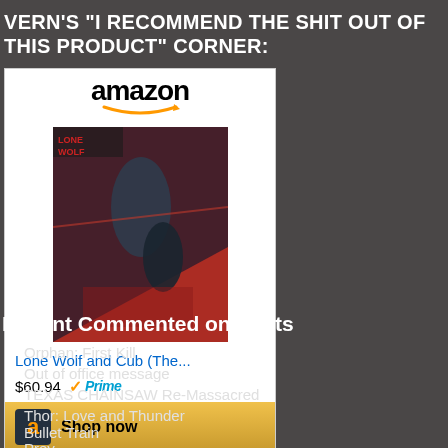VERN'S “I RECOMMEND THE SHIT OUT OF THIS PRODUCT” CORNER:
[Figure (other): Amazon product widget showing Lone Wolf and Cub (The...) priced at $60.94 with Prime badge and Shop now button]
Recent Commented on Posts
Orphan: First Kill
Out of office message
TEXAS CHAINSAW Re-Massacred
Thor: Love and Thunder
Bullet Train
Prey